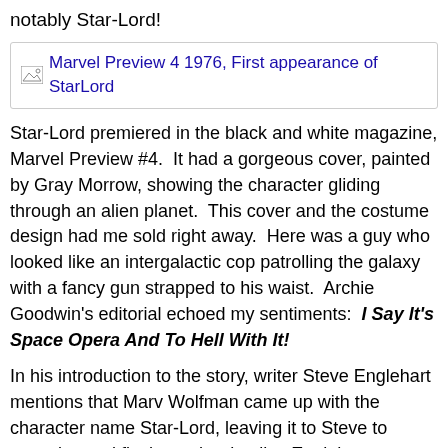notably Star-Lord!
[Figure (photo): Image placeholder for Marvel Preview 4 1976, First appearance of StarLord]
Star-Lord premiered in the black and white magazine, Marvel Preview #4.  It had a gorgeous cover, painted by Gray Morrow, showing the character gliding through an alien planet.  This cover and the costume design had me sold right away.  Here was a guy who looked like an intergalactic cop patrolling the galaxy with a fancy gun strapped to his waist.  Archie Goodwin's editorial echoed my sentiments:  I Say It's Space Opera And To Hell With It!
In his introduction to the story, writer Steve Englehart mentions that Marv Wolfman came up with the character name Star-Lord, leaving it to Steve to conceive and flesh out the details.  Englehart described his interest in astrology—and several astrological details are sprinkled throughout Star-Lord's origin.  Surprisingly—despite Englehart's interest in mysticism and philosophy—the lead character Peter Quill seems like a real dick in this first appearance!